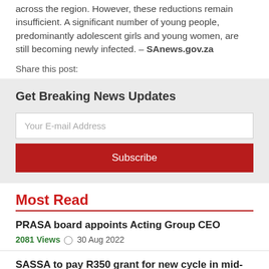across the region. However, these reductions remain insufficient. A significant number of young people, predominantly adolescent girls and young women, are still becoming newly infected. – SAnews.gov.za
Share this post:
Get Breaking News Updates
Your E-mail Address
Subscribe
Most Read
PRASA board appoints Acting Group CEO
2081 Views  30 Aug 2022
SASSA to pay R350 grant for new cycle in mid-June
288377 Views  13 Jun 2022